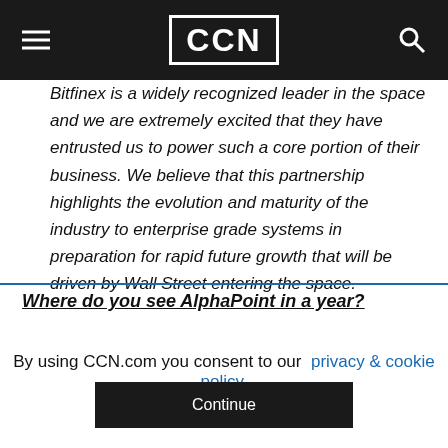CCN
Bitfinex is a widely recognized leader in the space and we are extremely excited that they have entrusted us to power such a core portion of their business. We believe that this partnership highlights the evolution and maturity of the industry to enterprise grade systems in preparation for rapid future growth that will be driven by Wall Street entering the space.
Where do you see AlphaPoint in a year?
By using CCN.com you consent to our privacy & cookie policy.
Continue